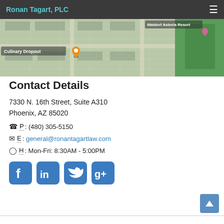Ronan Tagart, PLC
[Figure (map): Aerial/satellite map view showing location near Culinary Dropout and Waldorf Astoria Resort with a location pin marker]
Contact Details
7330 N. 16th Street, Suite A310
Phoenix, AZ 85020
P: (480) 305-5150
E: general@ronantagartlaw.com
H: Mon-Fri: 8:30AM - 5:00PM
[Figure (other): Social media icons: Facebook, LinkedIn, Twitter, Google+]